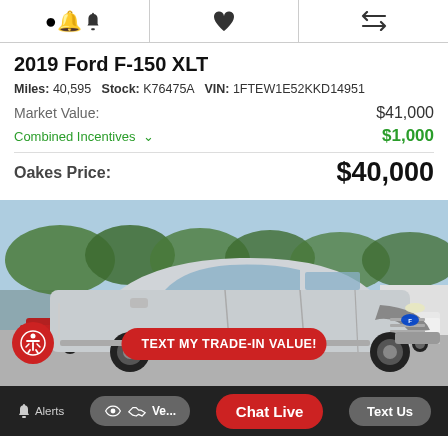Icon bar: alert bell, heart/favorite, compare arrows
2019 Ford F-150 XLT
Miles: 40,595   Stock: K76475A   VIN: 1FTEW1E52KKD14951
Market Value: $41,000
Combined Incentives ∨  $1,000
Oakes Price: $40,000
[Figure (photo): Silver Ford Expedition SUV photographed outdoors in a dealer lot with trees and buildings in background]
TEXT MY TRADE-IN VALUE!
Alerts  [handshake icon] Ve...  Chat Live  0  Text Us